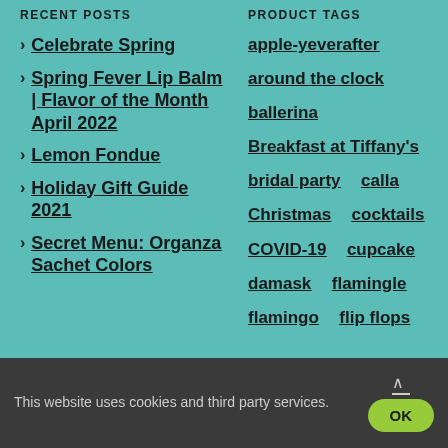RECENT POSTS
PRODUCT TAGS
Celebrate Spring
Spring Fever Lip Balm | Flavor of the Month April 2022
Lemon Fondue
Holiday Gift Guide 2021
Secret Menu: Organza Sachet Colors
apple-yeverafter
around the clock
ballerina
Breakfast at Tiffany's
bridal party
calla
Christmas
cocktails
COVID-19
cupcake
damask
flamingle
flamingo
flip flops
This website uses cookies and third party services.